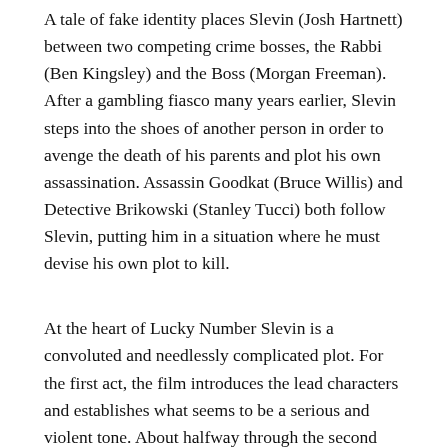A tale of fake identity places Slevin (Josh Hartnett) between two competing crime bosses, the Rabbi (Ben Kingsley) and the Boss (Morgan Freeman). After a gambling fiasco many years earlier, Slevin steps into the shoes of another person in order to avenge the death of his parents and plot his own assassination. Assassin Goodkat (Bruce Willis) and Detective Brikowski (Stanley Tucci) both follow Slevin, putting him in a situation where he must devise his own plot to kill.
At the heart of Lucky Number Slevin is a convoluted and needlessly complicated plot. For the first act, the film introduces the lead characters and establishes what seems to be a serious and violent tone. About halfway through the second act, the tone becomes somewhat comic and the audience does not get any particular cue about the intention of director Paul McGuigan ^ comedy, thriller, action.